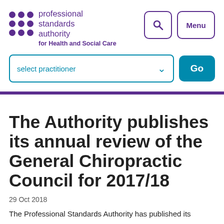professional standards authority for Health and Social Care
[Figure (other): Select practitioner dropdown with Go button]
The Authority publishes its annual review of the General Chiropractic Council for 2017/18
29 Oct 2018
The Professional Standards Authority has published its